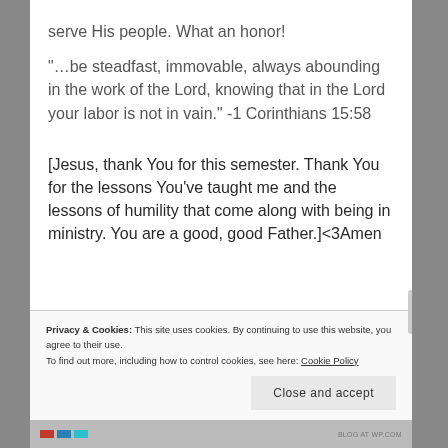serve His people. What an honor!
“…be steadfast, immovable, always abounding in the work of the Lord, knowing that in the Lord your labor is not in vain.” -1 Corinthians 15:58
[Jesus, thank You for this semester. Thank You for the lessons You’ve taught me and the lessons of humility that come along with being in ministry. You are a good, good Father.]<3Amen
Privacy & Cookies: This site uses cookies. By continuing to use this website, you agree to their use. To find out more, including how to control cookies, see here: Cookie Policy
Close and accept